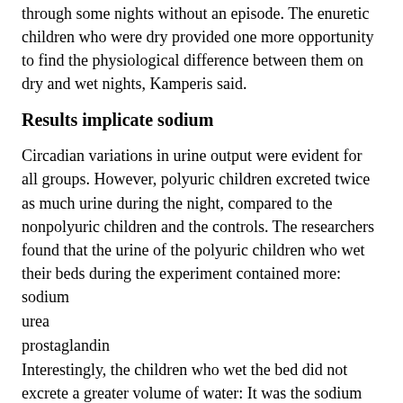through some nights without an episode. The enuretic children who were dry provided one more opportunity to find the physiological difference between them on dry and wet nights, Kamperis said.
Results implicate sodium
Circadian variations in urine output were evident for all groups. However, polyuric children excreted twice as much urine during the night, compared to the nonpolyuric children and the controls. The researchers found that the urine of the polyuric children who wet their beds during the experiment contained more:
sodium
urea
prostaglandin
Interestingly, the children who wet the bed did not excrete a greater volume of water: It was the sodium and urea content that made the difference. Sodium and urea excretion was